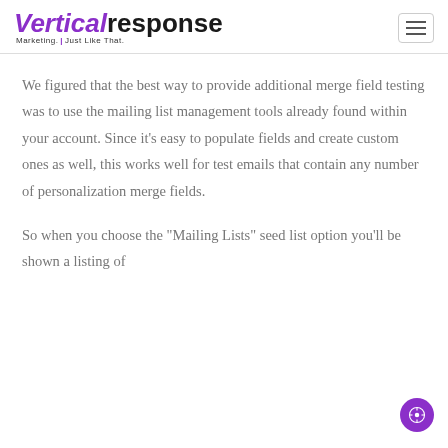[Figure (logo): VerticalResponse logo with tagline 'Marketing. Just Like That.' in purple and black, with hamburger menu icon on the right]
We figured that the best way to provide additional merge field testing was to use the mailing list management tools already found within your account. Since it’s easy to populate fields and create custom ones as well, this works well for test emails that contain any number of personalization merge fields.
So when you choose the “Mailing Lists” seed list option you’ll be shown a listing of